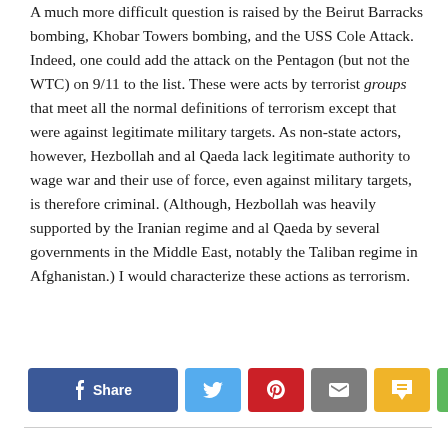A much more difficult question is raised by the Beirut Barracks bombing, Khobar Towers bombing, and the USS Cole Attack. Indeed, one could add the attack on the Pentagon (but not the WTC) on 9/11 to the list. These were acts by terrorist groups that meet all the normal definitions of terrorism except that were against legitimate military targets. As non-state actors, however, Hezbollah and al Qaeda lack legitimate authority to wage war and their use of force, even against military targets, is therefore criminal. (Although, Hezbollah was heavily supported by the Iranian regime and al Qaeda by several governments in the Middle East, notably the Taliban regime in Afghanistan.) I would characterize these actions as terrorism.
[Figure (other): Social share bar with buttons: Facebook Share, Twitter, Pinterest, Email, SMS, and a general share button]